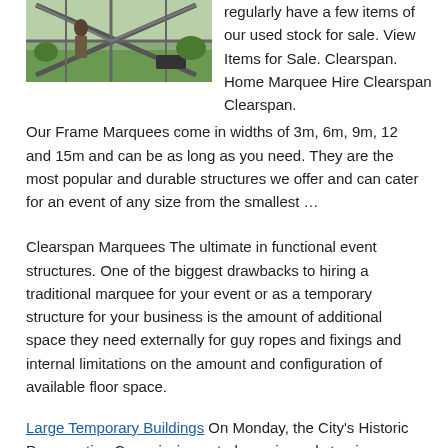[Figure (photo): Photo of a person working on a metal frame structure (clearspan marquee framework) outdoors with green grass and trees in background.]
regularly have a few items of our used stock for sale. View Items for Sale. Clearspan. Home Marquee Hire Clearspan Clearspan. Our Frame Marquees come in widths of 3m, 6m, 9m, 12 and 15m and can be as long as you need. They are the most popular and durable structures we offer and can cater for an event of any size from the smallest …
Clearspan Marquees The ultimate in functional event structures. One of the biggest drawbacks to hiring a traditional marquee for your event or as a temporary structure for your business is the amount of additional space they need externally for guy ropes and fixings and internal limitations on the amount and configuration of available floor space.
Large Temporary Buildings On Monday, the City's Historic Preservation Commission voted unanimously to give temporary historic designation … in 1995 were called the Journal building, 333